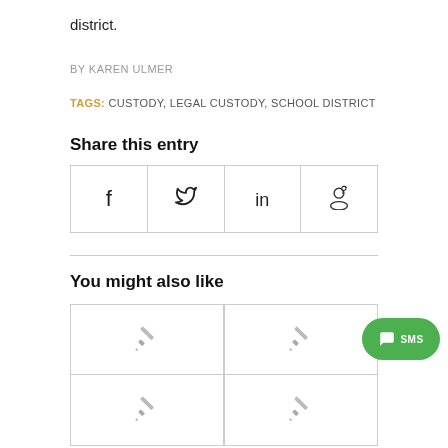district.
BY KAREN ULMER
TAGS: CUSTODY, LEGAL CUSTODY, SCHOOL DISTRICT
Share this entry
[Figure (other): Social sharing buttons: Facebook (f), Twitter (bird), LinkedIn (in), Reddit (alien face)]
You might also like
[Figure (other): 2x2 grid of related article thumbnail placeholders with pencil icons, and a green SMS chat bubble button]